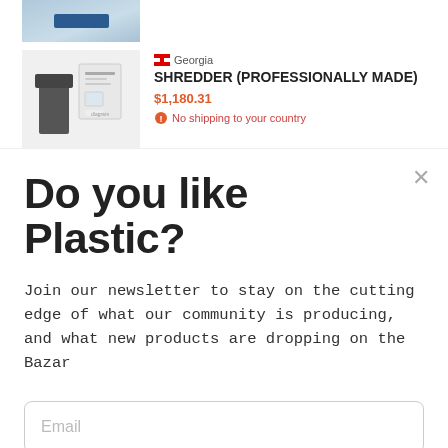[Figure (screenshot): Product listing screenshot showing top portion of a shredder product card with a blue device image at top, thumbnail image, Georgia location, product name, price, and shipping restriction]
Do you like Plastic?
Join our newsletter to stay on the cutting edge of what our community is producing, and what new products are dropping on the Bazar
Email
Sure, sign me up!